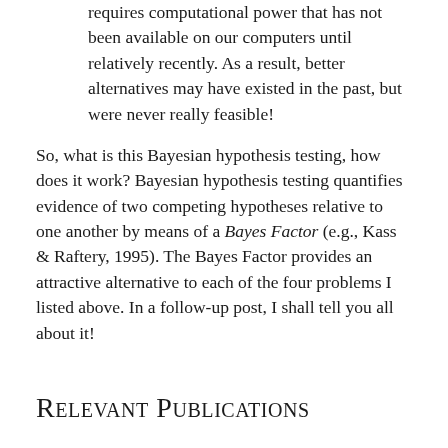requires computational power that has not been available on our computers until relatively recently. As a result, better alternatives may have existed in the past, but were never really feasible!
So, what is this Bayesian hypothesis testing, how does it work? Bayesian hypothesis testing quantifies evidence of two competing hypotheses relative to one another by means of a Bayes Factor (e.g., Kass & Raftery, 1995). The Bayes Factor provides an attractive alternative to each of the four problems I listed above. In a follow-up post, I shall tell you all about it!
Relevant Publications
Gigerenzer, G. (2004). Mindless statistics. The Journal of Socio-Economics, 33, 587-606.
Hill, R. (2004). Multiple sudden infant deaths – coincidence